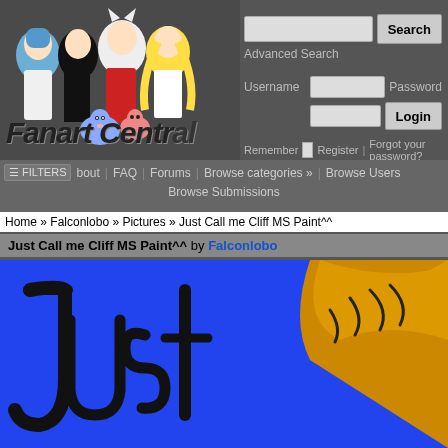[Figure (screenshot): Fanart Central website header with anime characters logo, search bar, login fields, navigation links, breadcrumb, article title bar, and fan artwork showing 'Just' text on blue background with orange character]
Fanart Central
Advanced Search
Username    Password
Remember    Register    Forgot your password?
FILTERS  bout  FAQ  Forums  Browse categories »  Browse Users
Browse Submissions
Home » Falconlobo » Pictures » Just Call me Cliff MS Paint^^
Just Call me Cliff MS Paint^^ by Falconlobo
[Figure (illustration): Fan artwork on blue background showing handwritten 'Just' text in black calligraphic style with orange character/figure on the right side]